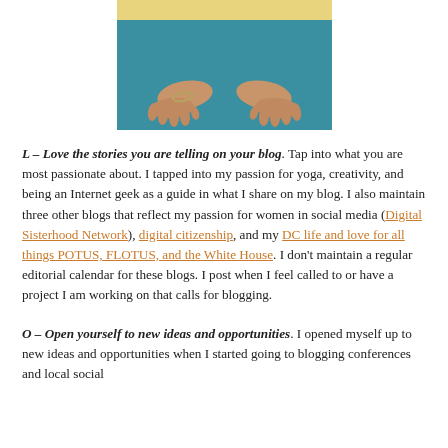[Figure (photo): Photo of hands pressing down on a teal/blue yoga mat with yellow background at top]
L – Love the stories you are telling on your blog. Tap into what you are most passionate about. I tapped into my passion for yoga, creativity, and being an Internet geek as a guide in what I share on my blog. I also maintain three other blogs that reflect my passion for women in social media (Digital Sisterhood Network), digital citizenship, and my DC life and love for all things POTUS, FLOTUS, and the White House. I don't maintain a regular editorial calendar for these blogs. I post when I feel called to or have a project I am working on that calls for blogging.
O – Open yourself to new ideas and opportunities. I opened myself up to new ideas and opportunities when I started going to blogging conferences and local social...